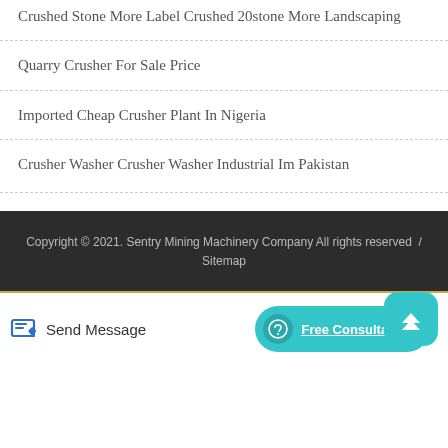Crushed Stone More Label Crushed 20stone More Landscaping
Quarry Crusher For Sale Price
Imported Cheap Crusher Plant In Nigeria
Crusher Washer Crusher Washer Industrial Im Pakistan
Copyright © 2021. Sentry Mining Machinery Company All rights reserved  / Sitemap
Send Message
Free Consultation